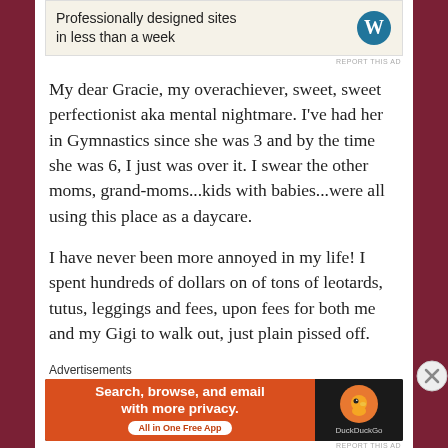[Figure (other): WordPress advertisement banner: 'Professionally designed sites in less than a week' with WordPress logo]
REPORT THIS AD
My dear Gracie, my overachiever, sweet, sweet perfectionist aka mental nightmare. I've had her in Gymnastics since she was 3 and by the time she was 6, I just was over it. I swear the other moms, grand-moms...kids with babies...were all using this place as a daycare.
I have never been more annoyed in my life! I spent hundreds of dollars on of tons of leotards, tutus, leggings and fees, upon fees for both me and my Gigi to walk out, just plain pissed off.
Advertisements
[Figure (other): DuckDuckGo advertisement: 'Search, browse, and email with more privacy. All in One Free App']